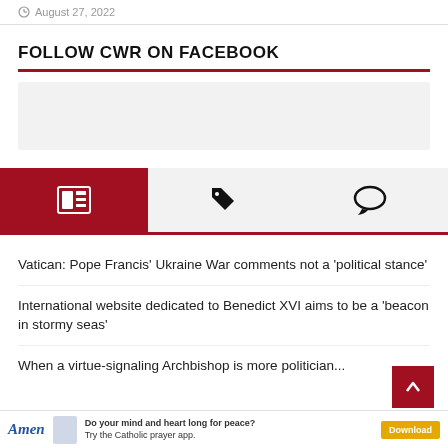August 27, 2022
FOLLOW CWR ON FACEBOOK
[Figure (other): Facebook plugin placeholder (light gray box)]
[Figure (other): Tab bar with three icons: newspaper (active, red background), tag, and speech bubble]
Vatican: Pope Francis’ Ukraine War comments not a ‘political stance’
International website dedicated to Benedict XVI aims to be a ‘beacon in stormy seas’
When a virtue-signaling Archbishop is more politician...
[Figure (other): Back-to-top button (dark red square with up arrow)]
[Figure (other): Ad bar: Amen app — Do your mind and heart long for peace? Try the Catholic prayer app. Download button.]